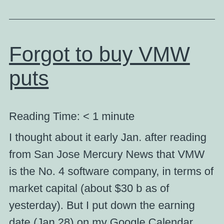Forgot to buy VMW puts
Reading Time: < 1 minute
I thought about it early Jan. after reading from San Jose Mercury News that VMW is the No. 4 software company, in terms of market capital (about $30 b as of yesterday). But I put down the earning date (Jan 28) on my Google Calendar (not Yahoo), and it did not send out reminder email... Continue reading